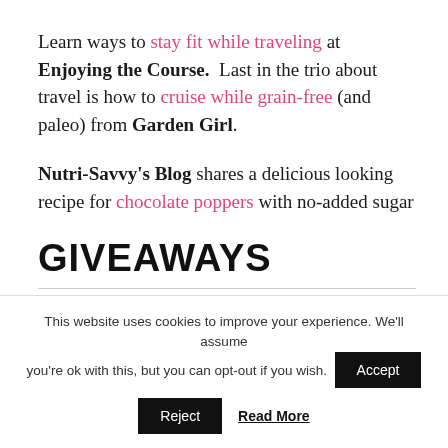Learn ways to stay fit while traveling at Enjoying the Course. Last in the trio about travel is how to cruise while grain-free (and paleo) from Garden Girl.
Nutri-Savvy's Blog shares a delicious looking recipe for chocolate poppers with no-added sugar
GIVEAWAYS
This website uses cookies to improve your experience. We'll assume you're ok with this, but you can opt-out if you wish. Accept Reject Read More